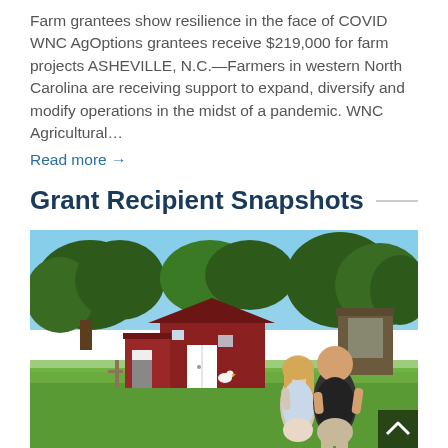Farm grantees show resilience in the face of COVID WNC AgOptions grantees receive $219,000 for farm projects ASHEVILLE, N.C.—Farmers in western North Carolina are receiving support to expand, diversify and modify operations in the midst of a pandemic. WNC Agricultural… Read more →
Grant Recipient Snapshots
[Figure (photo): Outdoor farm scene showing a red barn/shed with white door in the background surrounded by trees. In the foreground on the right, a young woman with blonde hair and a man in a dark t-shirt are standing together on green grass. A small white chicken is visible in the middle ground.]